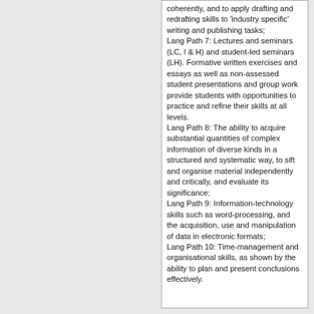coherently, and to apply drafting and redrafting skills to 'industry specific' writing and publishing tasks; Lang Path 7: Lectures and seminars (LC, I & H) and student-led seminars (LH). Formative written exercises and essays as well as non-assessed student presentations and group work provide students with opportunities to practice and refine their skills at all levels. Lang Path 8: The ability to acquire substantial quantities of complex information of diverse kinds in a structured and systematic way, to sift and organise material independently and critically, and evaluate its significance; Lang Path 9: Information-technology skills such as word-processing, and the acquisition, use and manipulation of data in electronic formats; Lang Path 10: Time-management and organisational skills, as shown by the ability to plan and present conclusions effectively.